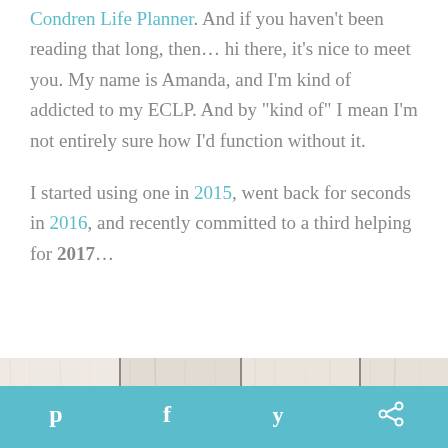Condren Life Planner. And if you haven't been reading that long, then… hi there, it's nice to meet you. My name is Amanda, and I'm kind of addicted to my ECLP. And by "kind of" I mean I'm not entirely sure how I'd function without it.
I started using one in 2015, went back for seconds in 2016, and recently committed to a third helping for 2017…
[Figure (photo): Close-up photo of white-washed wooden planks with vertical lines/separators, creating a rustic textured background]
Social share icons: Pinterest, Facebook, Twitter, other